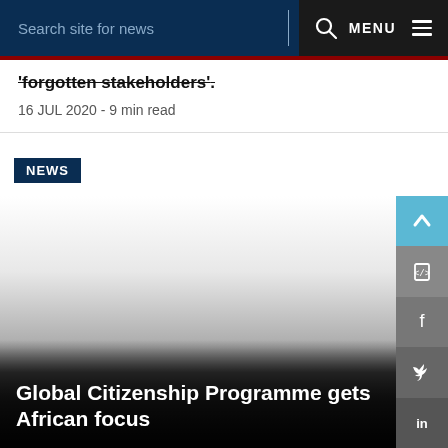Search site for news | MENU
'forgotten stakeholders'.
16 JUL 2020 - 9 min read
NEWS
[Figure (photo): Large photo for article 'Global Citizenship Programme gets African focus', fading from white/grey to dark overlay at bottom]
Global Citizenship Programme gets African focus